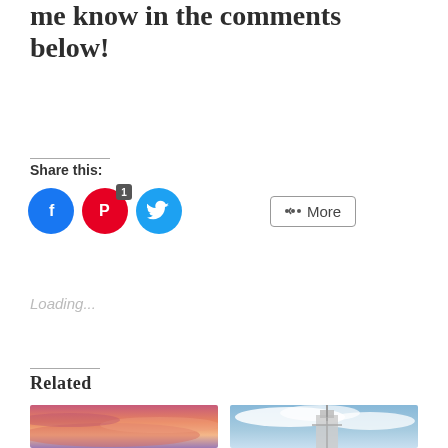me know in the comments below!
Share this:
[Figure (infographic): Social share buttons: Facebook (blue circle), Pinterest (red circle with badge '1'), Twitter (light blue circle), and a 'More' button with share icon]
Loading...
Related
[Figure (photo): Pink and purple sunset sky photo]
[Figure (photo): Blue sky with clouds and a building/tower photo]